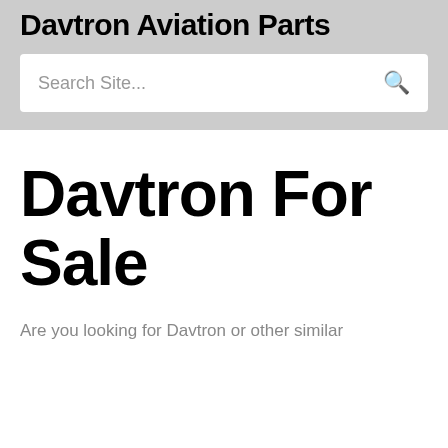Davtron Aviation Parts
[Figure (screenshot): Search box with placeholder text 'Search Site...' and a search icon on the right]
Davtron For Sale
Are you looking for Davtron or other similar